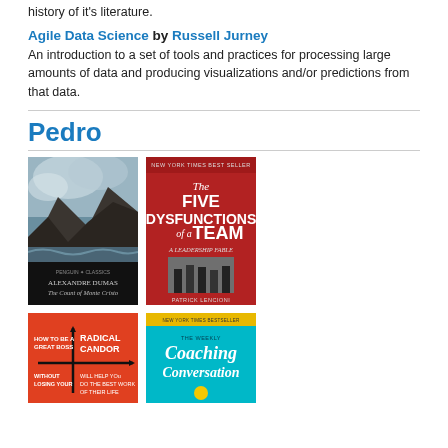history of it's literature.
Agile Data Science by Russell Jurney
An introduction to a set of tools and practices for processing large amounts of data and producing visualizations and/or predictions from that data.
Pedro
[Figure (photo): Book covers: The Count of Monte Cristo by Alexandre Dumas (Penguin Classics edition with dark stormy mountain scene) and The Five Dysfunctions of a Team by Patrick Lencioni (red cover, New York Times Best Seller)]
[Figure (photo): Book covers: Radical Candor (orange cover with axis diagram, 'How to be a great boss without losing your...') and The Weekly Coaching Conversation (yellow and teal cover, New York Times Bestseller)]